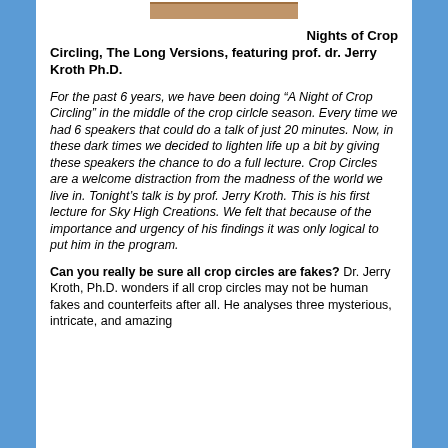[Figure (photo): A small photo/image at the top of the content area]
Nights of Crop Circling, The Long Versions, featuring prof. dr. Jerry Kroth Ph.D.
For the past 6 years, we have been doing “A Night of Crop Circling” in the middle of the crop cirlcle season. Every time we had 6 speakers that could do a talk of just 20 minutes. Now, in these dark times we decided to lighten life up a bit by giving these speakers the chance to do a full lecture. Crop Circles are a welcome distraction from the madness of the world we live in. Tonight’s talk is by prof. Jerry Kroth. This is his first lecture for Sky High Creations. We felt that because of the importance and urgency of his findings it was only logical to put him in the program.
Can you really be sure all crop circles are fakes? Dr. Jerry Kroth, Ph.D. wonders if all crop circles may not be human fakes and counterfeits after all. He analyses three mysterious, intricate, and amazing